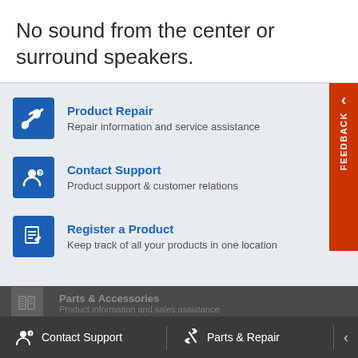No sound from the center or surround speakers.
Product Repair
Repair information and service assistance
Contact Support
Product support & customer relations
Register a Product
Keep track of all your products in one location
Parts & Accessories
Product information and sales assistance
Contact Support   Parts & Repair